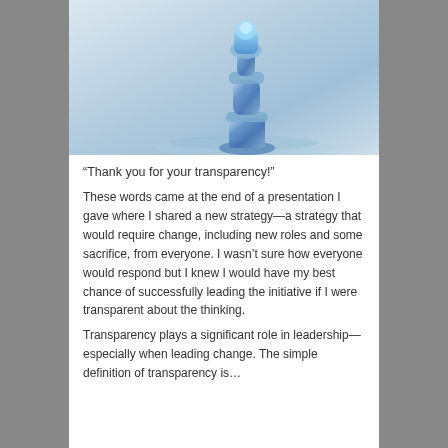[Figure (photo): A blue glass chess king piece standing on a reflective surface with a light blue and white background]
“Thank you for your transparency!”
These words came at the end of a presentation I gave where I shared a new strategy—a strategy that would require change, including new roles and some sacrifice, from everyone. I wasn’t sure how everyone would respond but I knew I would have my best chance of successfully leading the initiative if I were transparent about the thinking.
Transparency plays a significant role in leadership—especially when leading change. The simple definition of transparency is…